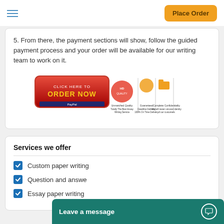Place Order
5. From there, the payment sections will show, follow the guided payment process and your order will be available for our writing team to work on it.
[Figure (infographic): Order Now banner with PayPal payment icons, quality badge, guaranteed deadline delivery, and complete confidentiality seals]
Services we offer
Custom paper writing
Question and answer
Essay paper writing
Leave a message